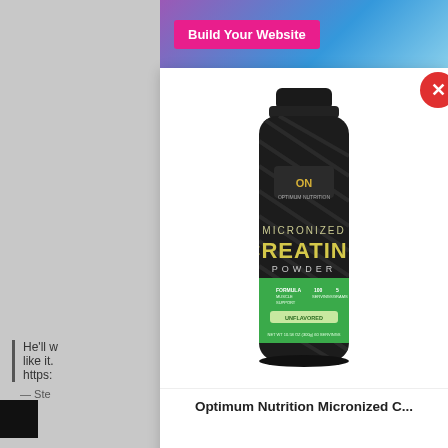[Figure (screenshot): Top advertisement banner with 'Build Your Website' button on pink/purple gradient background]
[Figure (photo): Optimum Nutrition Micronized Creatine Powder product bottle — black container with green label]
Optimum Nutrition Micronized C...
He'll w... like it. https:...
— Ste
Advertisements
[Figure (screenshot): Jetpack advertisement banner — green background with Jetpack logo and 'Back up your site' button]